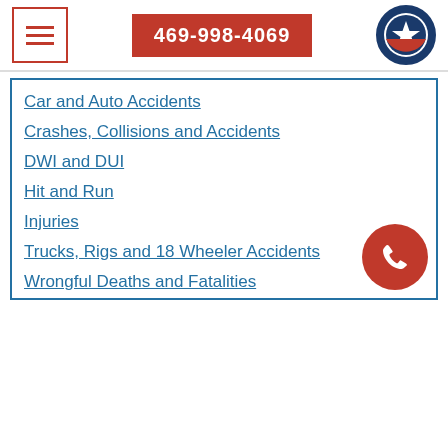469-998-4069
Car and Auto Accidents
Crashes, Collisions and Accidents
DWI and DUI
Hit and Run
Injuries
Trucks, Rigs and 18 Wheeler Accidents
Wrongful Deaths and Fatalities